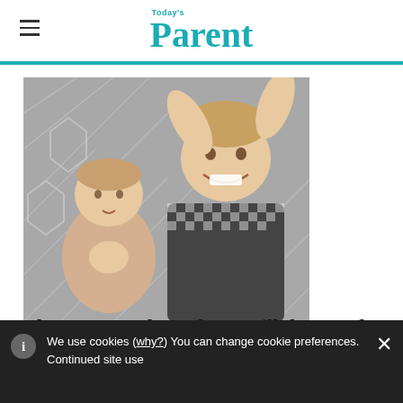Today's Parent
[Figure (photo): Two young boys lying on a patterned grey blanket — a baby on the left and a smiling toddler in a checkered shirt on the right with arms raised]
I love my two boys, but I still dream of
We use cookies (why?) You can change cookie preferences. Continued site use